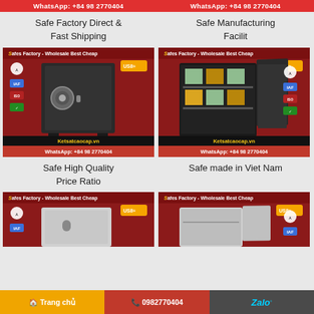WhatsApp: +84 98 2770404 | WhatsApp: +84 98 2770404
Safe Factory Direct & Fast Shipping
Safe Manufacturing Facilit
[Figure (photo): Safe product photo with Ketsatcaocap.vn branding and WhatsApp number on red background]
[Figure (photo): Safe product photo (open safe) with Ketsatcaocap.vn branding and WhatsApp number on red background]
Safe High Quality Price Ratio
Safe made in Viet Nam
[Figure (photo): Safe product photo (light colored safe) with Ketsatcaocap.vn branding on red background]
[Figure (photo): Safe product photo (open light colored safe) with Ketsatcaocap.vn branding on red background]
Trang chủ | 0982770404 | Zalo